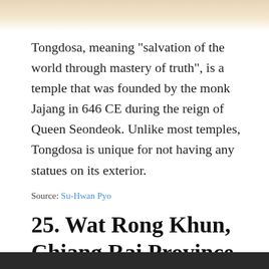[Figure (photo): Top strip showing a photo of a temple or outdoor scene with warm beige/sandy tones]
Tongdosa, meaning "salvation of the world through mastery of truth", is a temple that was founded by the monk Jajang in 646 CE during the reign of Queen Seondeok. Unlike most temples, Tongdosa is unique for not having any statues on its exterior.
Source: Su-Hwan Pyo
25. Wat Rong Khun, Chiang Rai Province, Thailand